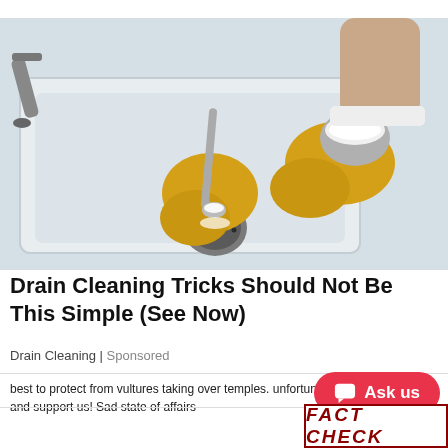[Figure (photo): Person wearing yellow rubber gloves spooning white powder (baking soda) into a kitchen sink drain, with a white ceramic sink and gray faucet visible, and lemon slices in the background.]
Drain Cleaning Tricks Should Not Be This Simple (See Now)
Drain Cleaning | Sponsored
best to protect from vultures taking over temples. unfortunately our h... d and support us! Sad state of affairs
[Figure (screenshot): Red pill-shaped chat button with speech bubble icon and text 'Ask us']
[Figure (other): Partial FACT CHECK banner in dark red text with border, bottom right corner]